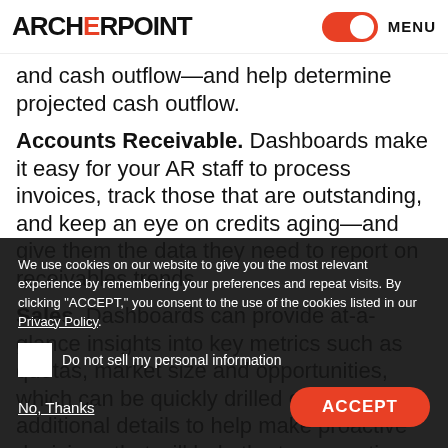ARCHERPOINT — MENU
and cash outflow—and help determine projected cash outflow.
Accounts Receivable. Dashboards make it easy for your AR staff to process invoices, track those that are outstanding, and keep an eye on credits aging—and give them the data they need to report on receivables trends.
Sales. Dashboards can provide at-a-glance insights into key metrics such as quotas, market size and opportunities, which can be quickly drilled down on for additional details to help make proactive decisions that will help the team continue hitting its goals.
We use cookies on our website to give you the most relevant experience by remembering your preferences and repeat visits. By clicking "ACCEPT," you consent to the use of the cookies listed in our Privacy Policy.
Do not sell my personal information
No, Thanks
ACCEPT